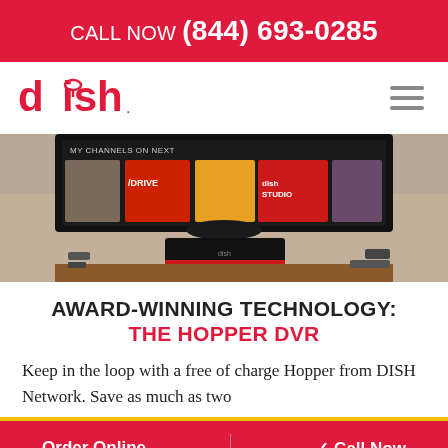CALL NOW (844) 693-0285
[Figure (logo): DISH Network logo in red with stylized satellite dish above the letter i]
[Figure (photo): TV screen showing DISH Hopper DVR interface with channel thumbnails including DRIVE and DISH Studio, with Hopper remote and set-top box on a wooden surface in front of a stone wall]
AWARD-WINNING TECHNOLOGY: THE HOPPER DVR
Keep in the loop with a free of charge Hopper from DISH Network. Save as much as two
Order Online   ✓ Call Now